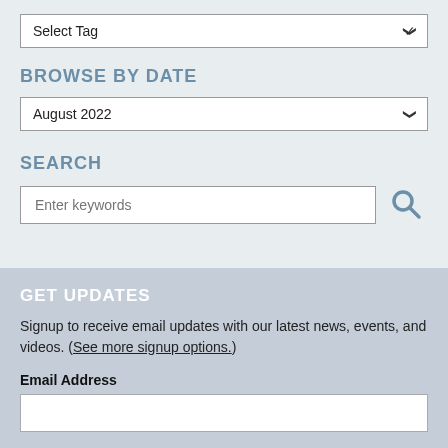Select Tag
BROWSE BY DATE
August 2022
SEARCH
Enter keywords
GET UPDATES
Signup to receive email updates with our latest news, events, and videos. (See more signup options.)
Email Address